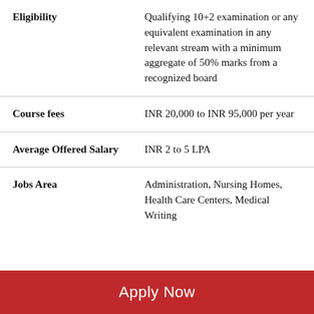| Eligibility | Qualifying 10+2 examination or any equivalent examination in any relevant stream with a minimum aggregate of 50% marks from a recognized board |
| Course fees | INR 20,000 to INR 95,000 per year |
| Average Offered Salary | INR 2 to 5 LPA |
| Jobs Area | Administration, Nursing Homes, Health Care Centers, Medical Writing |
Apply Now